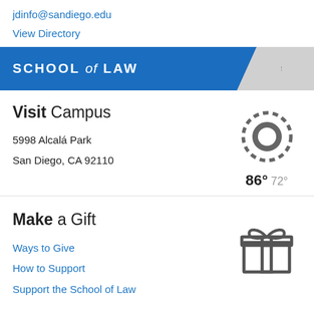jdinfo@sandiego.edu
View Directory
SCHOOL of LAW
Visit Campus
5998 Alcalá Park
San Diego, CA 92110
[Figure (illustration): Sun icon with circle center and spiky border, weather showing 86° high and 72° low]
Make a Gift
Ways to Give
How to Support
Support the School of Law
[Figure (illustration): Gift box icon with ribbon and bow]